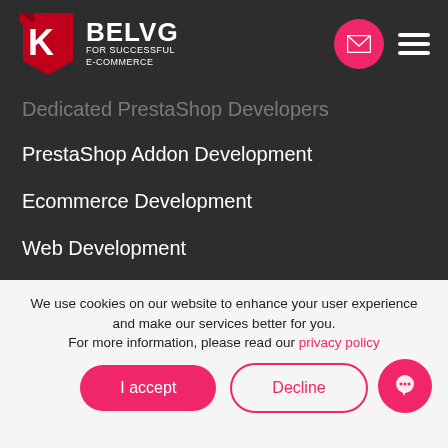BELVG FOR SUCCESSFUL E-COMMERCE
Dedicated PrestaShop Developers
PrestaShop Addon Development
Ecommerce Development
Web Development
STORES
Magento Extensions
PrestaShop Modules
We use cookies on our website to enhance your user experience and make our services better for you. For more information, please read our privacy policy
I accept
Decline